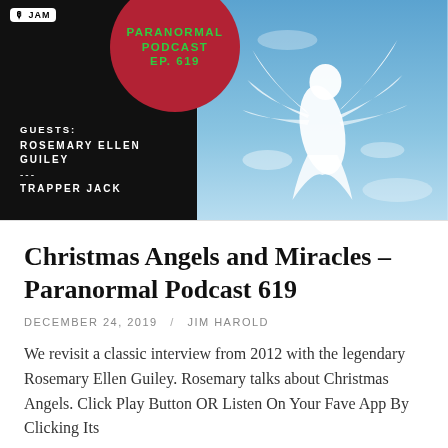[Figure (photo): Podcast cover art for Paranormal Podcast EP. 619 with black background on left side showing guests Rosemary Ellen Guiley and Trapper Jack, red circle with green text showing podcast info, and right side showing an angel made of clouds in a blue sky]
Christmas Angels and Miracles – Paranormal Podcast 619
DECEMBER 24, 2019 / JIM HAROLD
We revisit a classic interview from 2012 with the legendary Rosemary Ellen Guiley. Rosemary talks about Christmas Angels. Click Play Button OR Listen On Your Fave App By Clicking Its